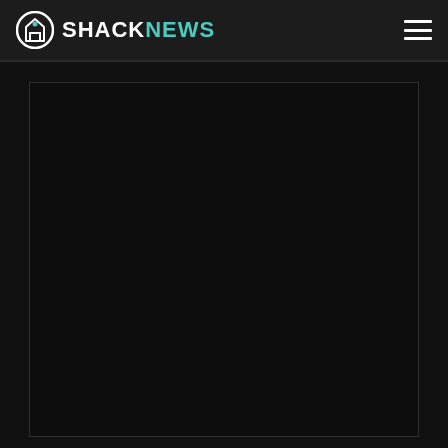SHACKNEWS
[Figure (screenshot): Dark content area with a black bordered rectangle, appearing to be a video embed or image placeholder on the Shacknews website]